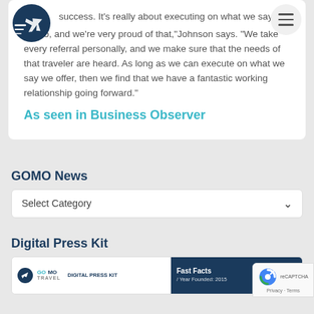[Figure (logo): GOMO Travel logo with airplane icon]
[Figure (other): Hamburger menu icon in circular button]
success. It's really about executing on what we say we do, and we're very proud of that,"Johnson says. "We take every referral personally, and we make sure that the needs of that traveler are heard. As long as we can execute on what we say we offer, then we find that we have a fantastic working relationship going forward."
As seen in Business Observer
GOMO News
Select Category
Digital Press Kit
[Figure (screenshot): Digital Press Kit thumbnail showing GOMO Travel logo and Fast Facts panel]
[Figure (other): reCAPTCHA badge with Privacy and Terms links]